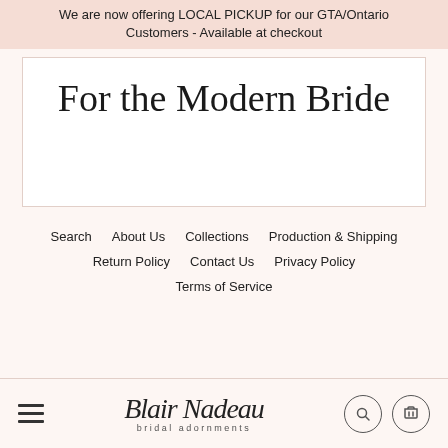We are now offering LOCAL PICKUP for our GTA/Ontario Customers - Available at checkout
For the Modern Bride
Search   About Us   Collections   Production & Shipping   Return Policy   Contact Us   Privacy Policy   Terms of Service
Blair Nadeau bridal adornments